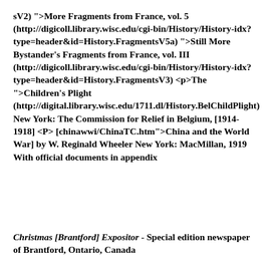sV2) ">More Fragments from France, vol. 5 (http://digicoll.library.wisc.edu/cgi-bin/History/History-idx?type=header&id=History.FragmentsV5a) ">Still More Bystander's Fragments from France, vol. III (http://digicoll.library.wisc.edu/cgi-bin/History/History-idx?type=header&id=History.FragmentsV3) <p>The ">Children's Plight (http://digital.library.wisc.edu/1711.dl/History.BelChildPlight) New York: The Commission for Relief in Belgium, [1914-1918] <P> [chinawwi/ChinaTC.htm">China and the World War] by W. Reginald Wheeler New York: MacMillan, 1919 With official documents in appendix
Christmas [Brantford] Expositor - Special edition newspaper of Brantford, Ontario, Canada